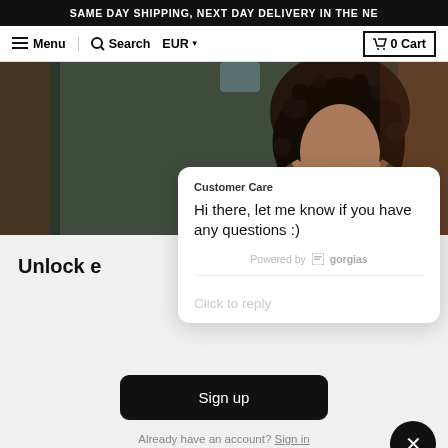SAME DAY SHIPPING, NEXT DAY DELIVERY IN THE NE
Menu  Search  EUR  0 Cart
[Figure (photo): Woman with curly hair touching her face, reflected in a mirror with warm brown wooden frame background]
[Figure (screenshot): Customer Care chat widget popup with message: Hi there, let me know if you have any questions :) Powered by gorgias. Click to reply input field.]
Unlock e
Sign up
Already have an account? Sign in
things like sun and pollution, prep your skin for makeup, and keep